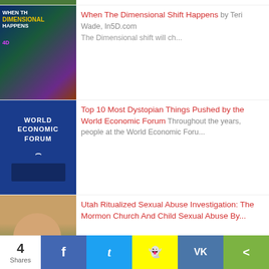[Figure (photo): Partial thumbnail image at top, cropped]
[Figure (photo): Thumbnail: When The Dimensional Shift Happens 4D - cosmic/space imagery with yellow and purple text]
When The Dimensional Shift Happens by Teri Wade, In5D.com The Dimensional shift will ch...
[Figure (photo): Thumbnail: World Economic Forum - blue background with WEF logo and audience/speakers]
Top 10 Most Dystopian Things Pushed by the World Economic Forum Throughout the years, people at the World Economic Foru...
[Figure (photo): Thumbnail: Bald man from behind at podium, Utah article]
Utah Ritualized Sexual Abuse Investigation: The Mormon Church And Child Sexual Abuse By...
4 Shares